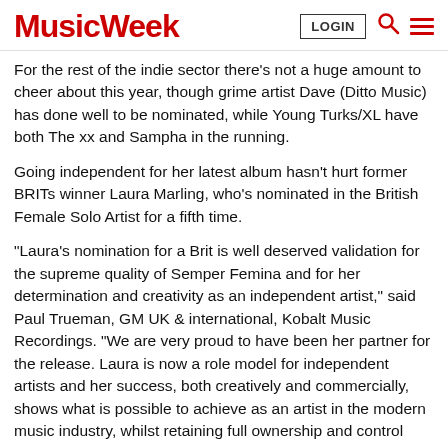Music Week | LOGIN
For the rest of the indie sector there's not a huge amount to cheer about this year, though grime artist Dave (Ditto Music) has done well to be nominated, while Young Turks/XL have both The xx and Sampha in the running.
Going independent for her latest album hasn't hurt former BRITs winner Laura Marling, who's nominated in the British Female Solo Artist for a fifth time.
"Laura's nomination for a Brit is well deserved validation for the supreme quality of Semper Femina and for her determination and creativity as an independent artist," said Paul Trueman, GM UK & international, Kobalt Music Recordings. "We are very proud to have been her partner for the release. Laura is now a role model for independent artists and her success, both creatively and commercially, shows what is possible to achieve as an artist in the modern music industry, whilst retaining full ownership and control over your masters."
As for the launch show itself, The BRITs Are Coming was on the main